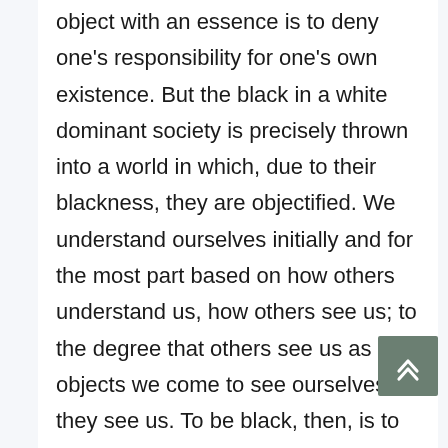object with an essence is to deny one's responsibility for one's own existence. But the black in a white dominant society is precisely thrown into a world in which, due to their blackness, they are objectified. We understand ourselves initially and for the most part based on how others understand us, how others see us; to the degree that others see us as objects we come to see ourselves as they see us. To be black, then, is to be attuned to oneself as an object,